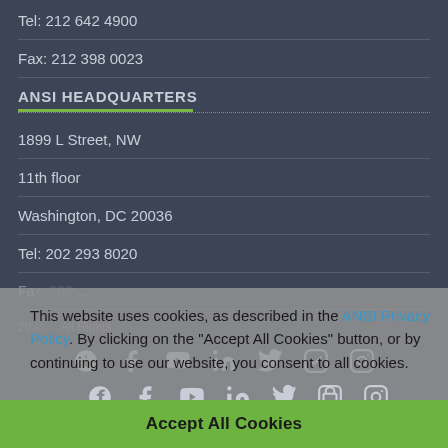Tel: 212 642 4900
Fax: 212 398 0023
ANSI HEADQUARTERS
1899 L Street, NW
11th floor
Washington, DC 20036
Tel: 202 293 8020
Fax: ...
2024 ... All Rights
This website uses cookies, as described in the ANSI Privacy Policy. By clicking on the "Accept All Cookies" button, or by continuing to use our website, you consent to all cookies.
Accept All Cookies